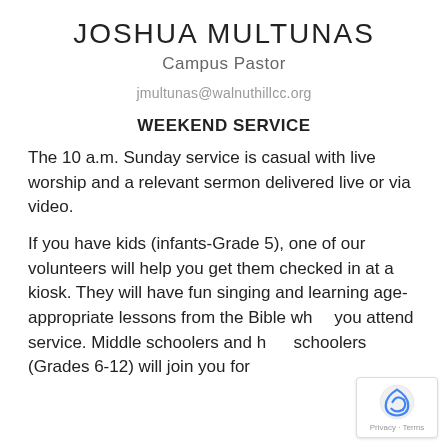JOSHUA MULTUNAS
Campus Pastor
jmultunas@walnuthillcc.org
WEEKEND SERVICE
The 10 a.m. Sunday service is casual with live worship and a relevant sermon delivered live or via video.
If you have kids (infants-Grade 5), one of our volunteers will help you get them checked in at a kiosk. They will have fun singing and learning age-appropriate lessons from the Bible while you attend service. Middle schoolers and high schoolers (Grades 6-12) will join you for